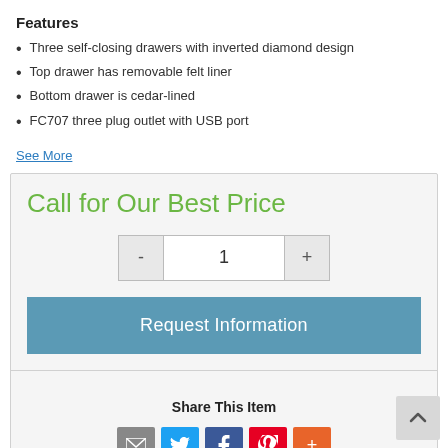Features
Three self-closing drawers with inverted diamond design
Top drawer has removable felt liner
Bottom drawer is cedar-lined
FC707 three plug outlet with USB port
See More
Call for Our Best Price
1
Request Information
Share This Item